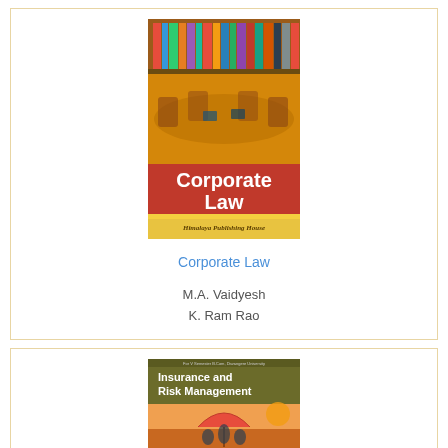[Figure (photo): Book cover of Corporate Law by M.A. Vaidyesh, K. Ram Rao, Lokesh Reddy P.K. Published by Himalaya Publishing House. Red background with library bookshelf image and conference table.]
Corporate Law
M.A. Vaidyesh
K. Ram Rao
[Figure (photo): Book cover of Insurance and Risk Management published by Himalaya Publishing House. Olive/dark yellow background with umbrella/people image.]